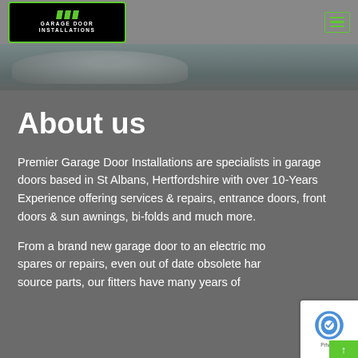[Figure (logo): Premier Garage Door Installations logo — black box with green border, green chevron stripes, white text reading GARAGE DOOR INSTALLATIONS]
[Figure (photo): Hero image showing a partial view of a car/garage door scene with grey tones]
About us
Premier Garage Door Installations are specialists in garage doors based in St Albans, Hertfordshire with over 10-Years Experience offering services & repairs, entrance doors, front doors & sun awnings, bi-folds and much more.
From a brand new garage door to an electric motor, spares or repairs, even out of date obsolete hardware source parts, our fitters have many years of
[Figure (other): reCAPTCHA privacy badge in bottom-right corner]